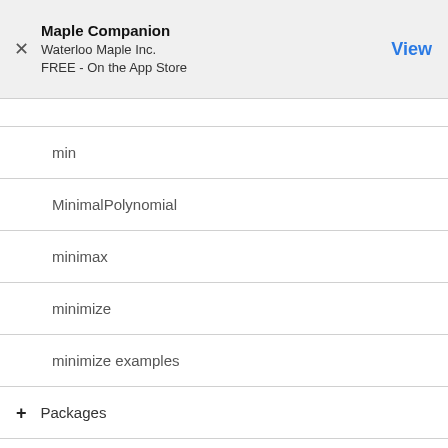Maple Companion
Waterloo Maple Inc.
FREE - On the App Store
min
MinimalPolynomial
minimax
minimize
minimize examples
+ Packages
+ Special Functions
+ Vector Calculus
+ Basic Mathematics